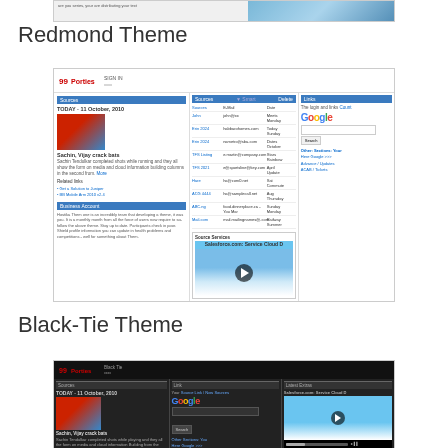[Figure (screenshot): Top partial screenshot of a webpage with light grey and blue section]
Redmond Theme
[Figure (screenshot): Screenshot of a Redmond-themed blog/portal layout with red logo, three columns including posts, email links, Google search widget, and a Salesforce cloud video ad]
Black-Tie Theme
[Figure (screenshot): Partial screenshot of a Black-Tie themed blog/portal with dark background, red logo, and three columns showing post, Google search, and Salesforce cloud video]